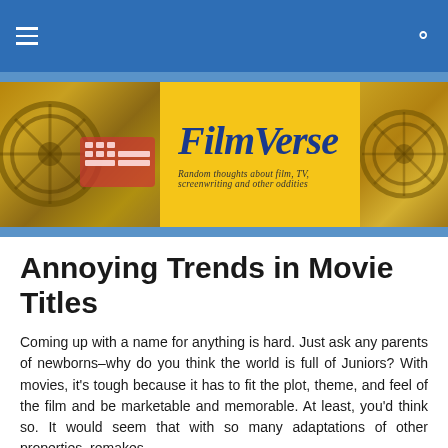FilmVerse — Random thoughts about film, TV, screenwriting and other oddities
[Figure (logo): FilmVerse website banner with film reels on left and right, yellow center with FilmVerse logo in dark blue italic font and tagline: Random thoughts about film, TV, screenwriting and other oddities]
Annoying Trends in Movie Titles
Coming up with a name for anything is hard.  Just ask any parents of newborns–why do you think the world is full of Juniors?  With movies, it's tough because it has to fit the plot, theme, and feel of the film and be marketable and memorable.  At least, you'd think so.  It would seem that with so many adaptations of other properties, remakes and...